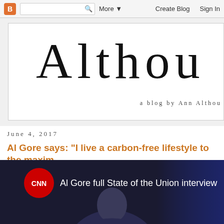Blogger navigation bar with search, More, Create Blog, Sign In
Althou
a blog by Ann Althou
June 4, 2017
Al Gore says: "I live a carbon-free lifestyle to the maximum extent possible."
When confronted by Jake Tapper over his hypocrisy, today on "State of the Un
[Figure (screenshot): CNN video thumbnail showing 'Al Gore full State of the Union interview' with CNN logo and person visible]